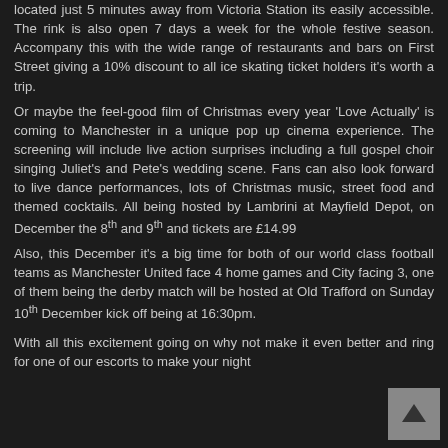located just 5 minutes away from Victoria Station its easily accessible. The rink is also open 7 days a week for the whole festive season. Accompany this with the wide range of restaurants and bars on First Street giving a 10% discount to all ice skating ticket holders it's worth a trip.

Or maybe the feel-good film of Christmas every year 'Love Actually' is coming to Manchester in a unique pop up cinema experience. The screening will include live action surprises including a full gospel choir singing Juliet's and Pete's wedding scene. Fans can also look forward to live dance performances, lots of Christmas music, street food and themed cocktails. All being hosted by Lambrini at Mayfield Depot, on December the 8th and 9th and tickets are £14.99

Also, this December it's a big time for both of our world class football teams as Manchester United face 4 home games and City facing 3, one of them being the derby match will be hosted at Old Trafford on Sunday 10th December kick off being at 16:30pm.

With all this excitement going on why not make it even better and ring for one of our escorts to make your night